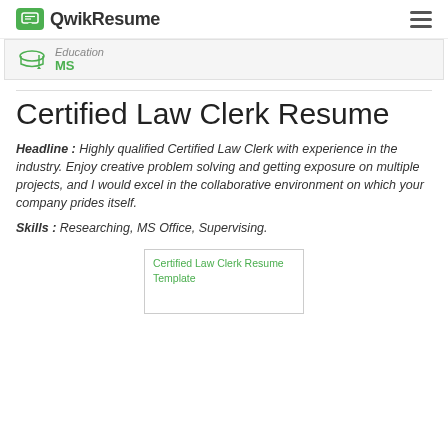QwikResume
Education
MS
Certified Law Clerk Resume
Headline : Highly qualified Certified Law Clerk with experience in the industry. Enjoy creative problem solving and getting exposure on multiple projects, and I would excel in the collaborative environment on which your company prides itself.
Skills : Researching, MS Office, Supervising.
[Figure (screenshot): Certified Law Clerk Resume Template thumbnail image placeholder]